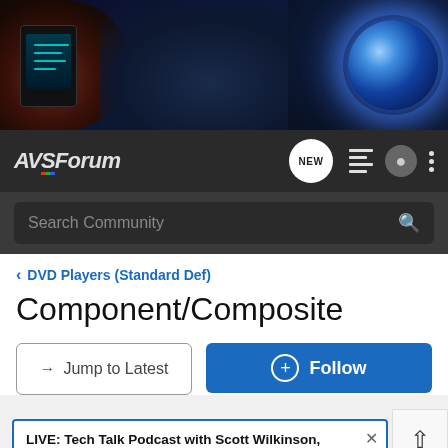[Figure (screenshot): AVS Forum website banner showing home theater equipment including a speaker, luxury seating, and a projector with blue lens glow on a dark background]
AVS FORUM navigation bar with logo, NEW button, menu icon, user icon, and more options
Search Community
< DVD Players (Standard Def)
Component/Composite
→ Jump to Latest
+ Follow
LIVE: Tech Talk Podcast with Scott Wilkinson, Episode 8 Click here for details.